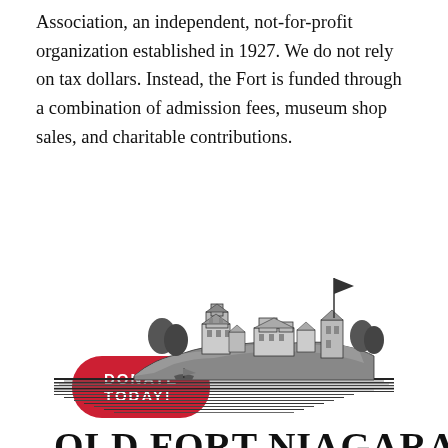Association, an independent, not-for-profit organization established in 1927. We do not rely on tax dollars. Instead, the Fort is funded through a combination of admission fees, museum shop sales, and charitable contributions.
DONATE TODAY!
[Figure (illustration): Black and white engraving illustration of Old Fort Niagara showing a fortified settlement on a rocky bluff above water, with a flag flying on the right side]
OLD FORT NIAGARA